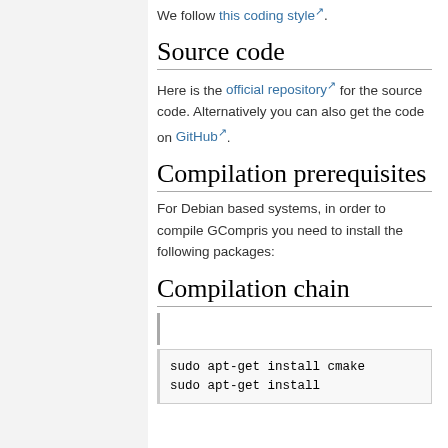We follow this coding style ↗.
Source code
Here is the official repository ↗ for the source code. Alternatively you can also get the code on GitHub ↗.
Compilation prerequisites
For Debian based systems, in order to compile GCompris you need to install the following packages:
Compilation chain
sudo apt-get install cmake
sudo apt-get install